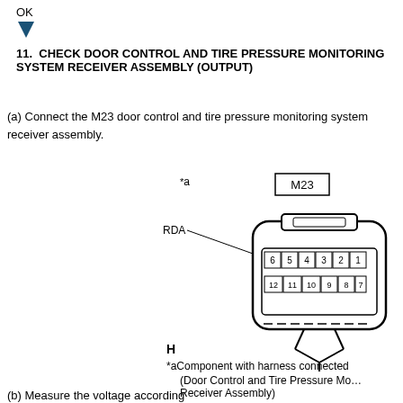OK
[Figure (schematic): Blue downward-pointing arrow indicating OK flow direction]
11.  CHECK DOOR CONTROL AND TIRE PRESSURE MONITORING SYSTEM RECEIVER ASSEMBLY (OUTPUT)
(a) Connect the M23 door control and tire pressure monitoring system receiver assembly.
[Figure (engineering-diagram): Connector diagram of M23 door control and tire pressure monitoring system receiver assembly. Shows a 12-pin connector labeled M23 with pins arranged in two rows: top row 6,5,4,3,2,1 and bottom row 12,11,10,9,8,7. RDA label points to connector body. *a label indicates component side. H label appears below connector. Wire harness shown at bottom.]
*a Component with harness connected
(Door Control and Tire Pressure Monitoring Receiver Assembly)
(b) Measure the voltage according